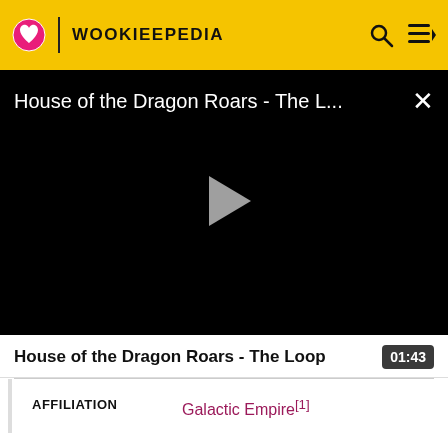WOOKIEEPEDIA
[Figure (screenshot): Video player showing 'House of the Dragon Roars - The L...' with a play button on black background and a close (X) button]
House of the Dragon Roars - The Loop
01:43
| AFFILIATION |  |
| --- | --- |
| AFFILIATION | Galactic Empire[1] |